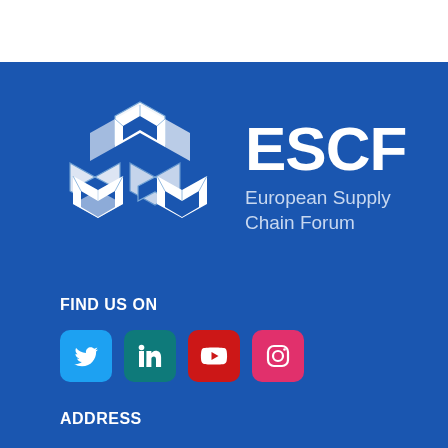[Figure (logo): ESCF European Supply Chain Forum logo — white geometric 3D interlocking hexagonal shape on blue background, with 'ESCF' in large bold white text and 'European Supply Chain Forum' in lighter text below]
FIND US ON
[Figure (infographic): Four social media icons in rounded square buttons: Twitter (light blue), LinkedIn (teal), YouTube (red), Instagram (pink/magenta)]
ADDRESS